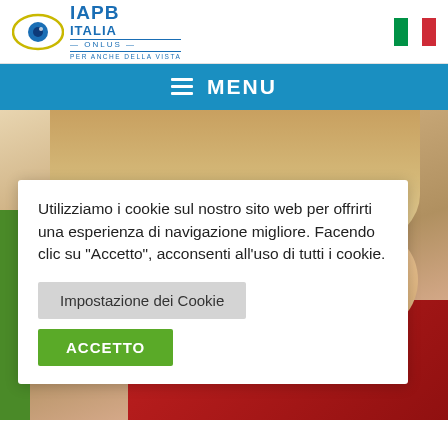[Figure (logo): IAPB Italia Onlus logo with eye icon and text 'PER ANCHE DELLA VISTA']
[Figure (logo): Italian flag icon (green, white, red vertical stripes)]
☰ MENU
[Figure (photo): Close-up photo of a young blonde toddler girl wearing a red polka-dot dress, covering her eyes with her hands]
Utilizziamo i cookie sul nostro sito web per offrirti una esperienza di navigazione migliore. Facendo clic su "Accetto", acconsenti all'uso di tutti i cookie.
Impostazione dei Cookie
ACCETTO